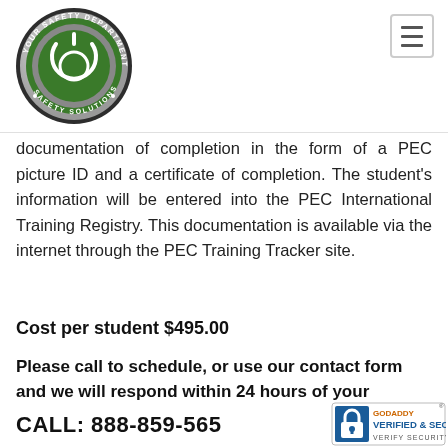[Figure (logo): Your Safety Department circular logo with power button icon, green and silver colors, text reading YOUR SAFETY DEPARTMENT and SAFETY SOLUTIONS]
documentation of completion in the form of a PEC picture ID and a certificate of completion. The student's information will be entered into the PEC International Training Registry. This documentation is available via the internet through the PEC Training Tracker site.
Cost per student $495.00
Please call to schedule, or use our contact form and we will respond within 24 hours of your request.
CALL: 888-859-5655